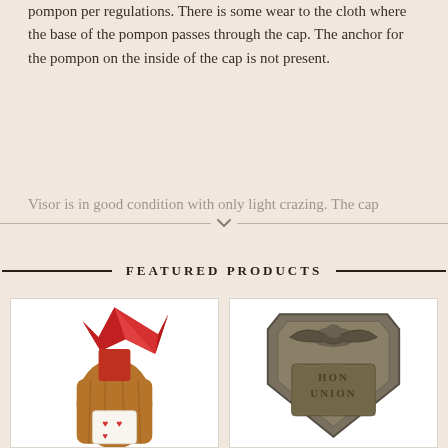pompon per regulations. There is some wear to the cloth where the base of the pompon passes through the cap. The anchor for the pompon on the inside of the cap is not present.
Visor is in good condition with only light crazing. The cap…
FEATURED PRODUCTS
[Figure (photo): A folk art doll wearing a brown fabric body/dress with a red paper or fabric hat/headpiece on top, and a small label with hearts visible on the lower portion.]
[Figure (photo): A metal shield-shaped badge with an eagle at the top and text reading 'UNION' engraved on the face, with an aged/antique appearance.]